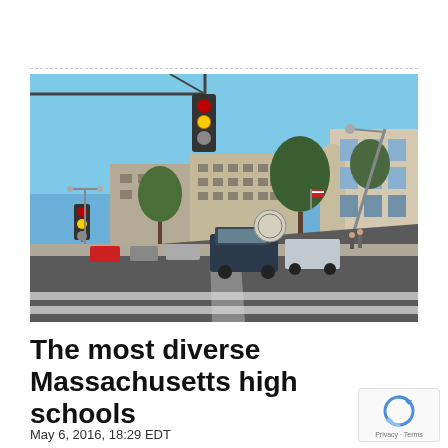[Figure (photo): Street-level photograph of a Massachusetts city intersection on a clear blue-sky day. In the foreground is a multi-lane road with white crosswalk stripes. A traffic light hangs overhead from a horizontal arm on the left. Several cars and an SUV are visible on the road. In the background are multi-story concrete institutional/government buildings, bare deciduous trees, and on the far right a rounded-corner beige brick building. Street lights and utility poles are visible.]
The most diverse Massachusetts high schools
May 6, 2016, 18:29 EDT